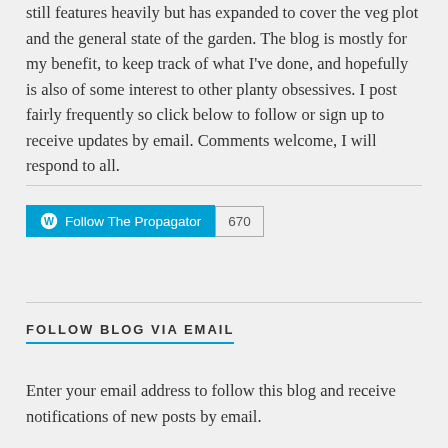still features heavily but has expanded to cover the veg plot and the general state of the garden. The blog is mostly for my benefit, to keep track of what I've done, and hopefully is also of some interest to other planty obsessives. I post fairly frequently so click below to follow or sign up to receive updates by email. Comments welcome, I will respond to all.
[Figure (other): WordPress Follow button with 'Follow The Propagator' text and follower count badge showing 670]
FOLLOW BLOG VIA EMAIL
Enter your email address to follow this blog and receive notifications of new posts by email.